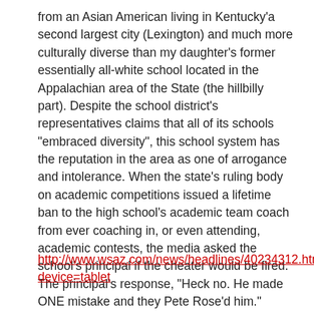from an Asian American living in Kentucky'a second largest city (Lexington) and much more culturally diverse than my daughter's former essentially all-white school located in the Appalachian area of the State (the hillbilly part). Despite the school district's representatives claims that all of its schools "embraced diversity", this school system has the reputation in the area as one of arrogance and intolerance. When the state's ruling body on academic competitions issued a lifetime ban to the high school's academic team coach from ever coaching in, or even attending, academic contests, the media asked the school's principal if the cheater would be fired. The principal's response, "Heck no. He made ONE mistake and they Pete Rose'd him."
http://www.wsaz.com/news/headlines/40234312.html?device=tablet